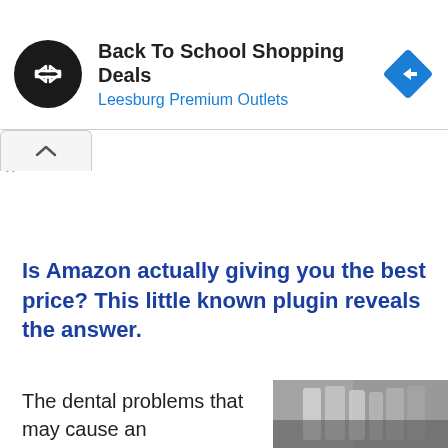[Figure (screenshot): Advertisement banner: Back To School Shopping Deals at Leesburg Premium Outlets. Black circular logo with double arrow icon on left, blue diamond navigation icon on right.]
Is Amazon actually giving you the best price? This little known plugin reveals the answer.
The dental problems that may cause an
[Figure (photo): Black and white photo of teeth/dental image]